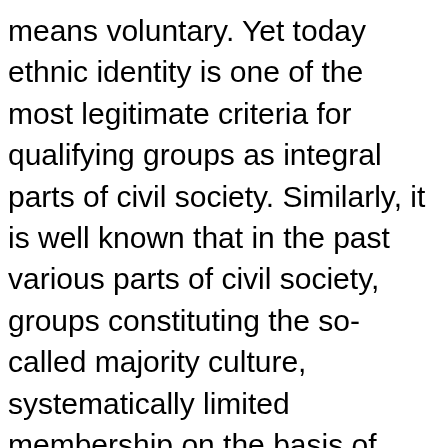means voluntary. Yet today ethnic identity is one of the most legitimate criteria for qualifying groups as integral parts of civil society. Similarly, it is well known that in the past various parts of civil society, groups constituting the so-called majority culture, systematically limited membership on the basis of ethnicity, i.e., in ways obviously not predicated merely on formal rational criteria. Thus, historically, civil society has never quite come up to the standards advocated by its liberal apologists. This should come as no surprise: since the formal dimension is never adequate to that which it seeks to